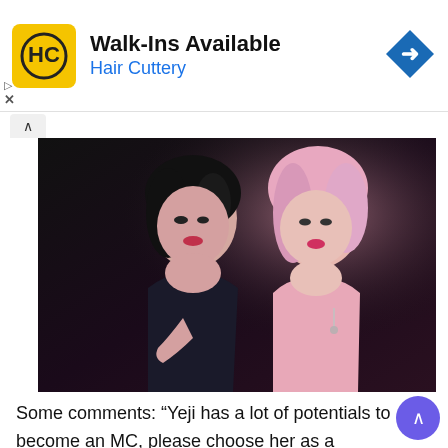[Figure (infographic): Hair Cuttery advertisement banner with yellow HC logo, 'Walk-Ins Available' heading, 'Hair Cuttery' subtitle in blue, and a blue diamond navigation arrow on the right.]
[Figure (photo): Two K-pop female performers posing dramatically. Left performer has dark hair and wears a black outfit. Right performer has pink/blonde hair and wears a pink outfit. Dark studio background.]
Some comments: “Yeji has a lot of potentials to become an MC, please choose her as a permanent MC”; “Min Joo and Yeji match well, like a yellow cat and a gray cat”; “The common point of Min Joo and Yeji is their eye shape, but Min Joo is soft and